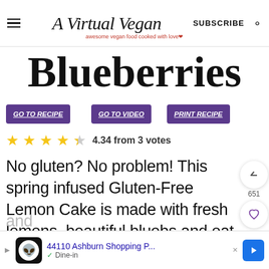A Virtual Vegan — awesome vegan food cooked with love
Blueberries
GO TO RECIPE
GO TO VIDEO
PRINT RECIPE
4.34 from 3 votes
No gluten? No problem! This spring infused Gluten-Free Lemon Cake is made with fresh lemons, beautiful bluebs and oat flour. It's fresh and zingy , soft and tender
and
44110 Ashburn Shopping P... Dine-in